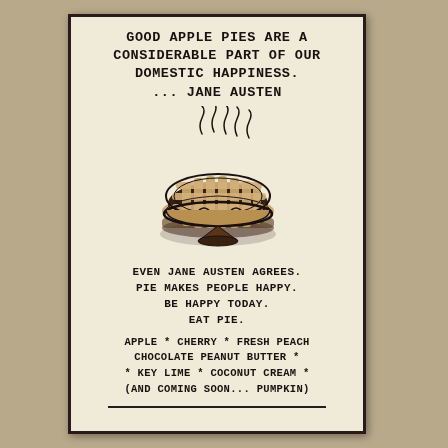GOOD APPLE PIES ARE A CONSIDERABLE PART OF OUR DOMESTIC HAPPINESS. ... JANE AUSTEN
[Figure (illustration): Black and white ink illustration of a lattice-top pie with steam rising from it, viewed from a slight angle]
EVEN JANE AUSTEN AGREES. PIE MAKES PEOPLE HAPPY. BE HAPPY TODAY. EAT PIE.
APPLE * CHERRY * FRESH PEACH CHOCOLATE PEANUT BUTTER * * KEY LIME * COCONUT CREAM * (AND COMING SOON... PUMPKIN)